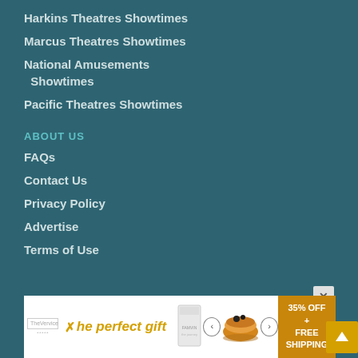Harkins Theatres Showtimes
Marcus Theatres Showtimes
National Amusements Showtimes
Pacific Theatres Showtimes
ABOUT US
FAQs
Contact Us
Privacy Policy
Advertise
Terms of Use
Copyright © 2022 Tribute Entertainment Media Group
Last Updated: August 23, 2022
[Figure (infographic): Advertisement banner: 'The perfect gift' with food bowl image, arrows, 35% OFF + FREE SHIPPING promo, and a close button. Also a yellow scroll-to-top arrow button.]